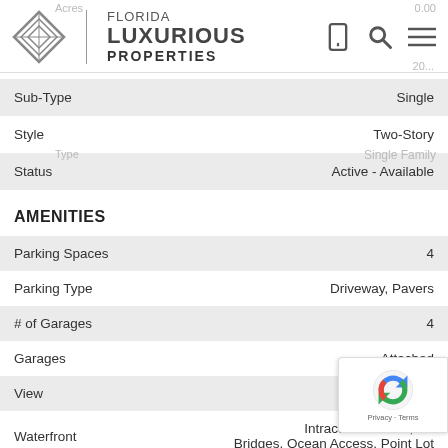[Figure (logo): Florida Luxurious Properties logo with diamond shape icon and text]
| Field | Value |
| --- | --- |
| Sub-Type | Single |
| Style | Two-Story |
| Status | Active - Available |
AMENITIES
| Field | Value |
| --- | --- |
| Parking Spaces | 4 |
| Parking Type | Driveway, Pavers |
| # of Garages | 4 |
| Garages | Attached |
| View | Intracoasta... |
| Waterfront | Intracoastal Front, No Bridges, Ocean Access, Point Lot |